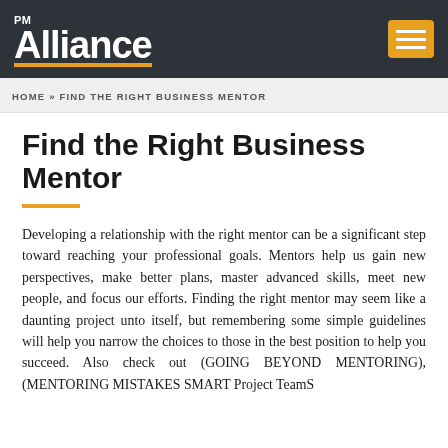PM Alliance
HOME » FIND THE RIGHT BUSINESS MENTOR
Find the Right Business Mentor
Developing a relationship with the right mentor can be a significant step toward reaching your professional goals. Mentors help us gain new perspectives, make better plans, master advanced skills, meet new people, and focus our efforts. Finding the right mentor may seem like a daunting project unto itself, but remembering some simple guidelines will help you narrow the choices to those in the best position to help you succeed. Also check out (GOING BEYOND MENTORING), (MENTORING MISTAKES SMART Project TeamS